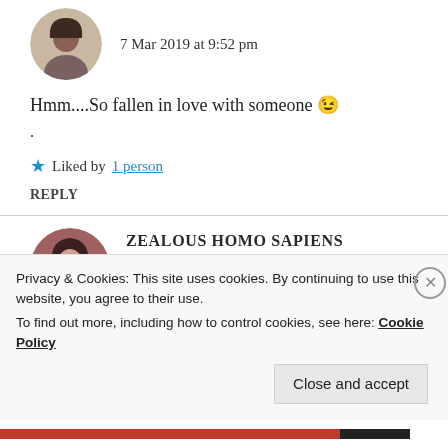7 Mar 2019 at 9:52 pm
Hmm....So fallen in love with someone 😉
.
★ Liked by 1 person
REPLY
ZEALOUS HOMO SAPIENS
7 Mar 2019 at 9:53 pm
Privacy & Cookies: This site uses cookies. By continuing to use this website, you agree to their use. To find out more, including how to control cookies, see here: Cookie Policy
Close and accept